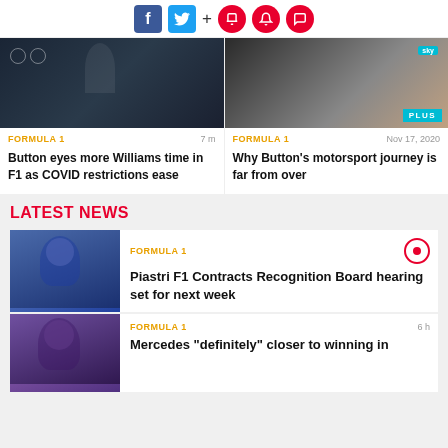[Figure (other): Social media icons: Facebook, Twitter, plus sign, bookmark, notification bell, and chat bubble icons in red circles]
[Figure (photo): Person wearing dark jacket with logos]
FORMULA 1   7 m
Button eyes more Williams time in F1 as COVID restrictions ease
[Figure (photo): Racing driver in white suit near car with SKY and Rocket branding, PLUS badge overlay]
FORMULA 1   Nov 17, 2020
Why Button's motorsport journey is far from over
LATEST NEWS
[Figure (photo): Young male driver in blue team shirt with lanyard]
FORMULA 1
Piastri F1 Contracts Recognition Board hearing set for next week
[Figure (photo): Racing driver portrait]
FORMULA 1   6 h
Mercedes "definitely" closer to winning in